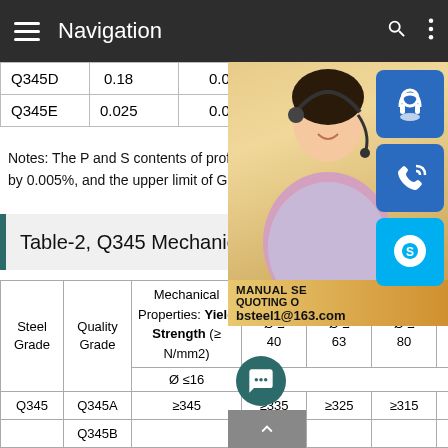Navigation
|  |  |  |  |
| --- | --- | --- | --- |
| Q345D | 0.18 | 0.030 | 0.025 |
| Q345E | 0.025 | 0.020 |  |
Notes: The P and S contents of profiles and by 0.005%, and the upper limit of Grade A
Table-2, Q345 Mechanical Pro
| Steel Grade | Quality Grade | Mechanical Properties: Yield Strength (≥ N/mm2) Ø ≤16 | 16 < Ø ≤ 40 | 40 < Ø ≤ 63 | 63 < Ø ≤ 80 | 80 < Ø ≤ 100 | 100 < Ø ≤ 150 | 150 < Ø ≤ 200 | 200 25 |
| --- | --- | --- | --- | --- | --- | --- | --- | --- | --- |
| Q345 | Q345A | ≥345 | ≥335 | ≥325 | ≥315 | ≥305 | ≥285 | ≥275 |  |
| Q345B |  |  |  |  |  |  |  |  |  |
[Figure (photo): Customer service representative with headset, overlaid with contact icons (headset/support, phone, Skype) and email bsteel1@163.com]